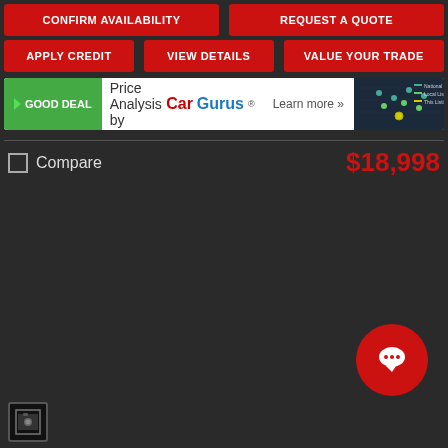CONFIRM AVAILABILITY
REQUEST A QUOTE
APPLY CREDIT
VIEW DETAILS
VALUE YOUR TRADE
[Figure (screenshot): CarGurus GOOD DEAL price analysis banner with green badge, CarGurus logo, Learn more link, and chart graphic]
Compare
$18,998
[Figure (illustration): Red circular chat button with three dots (speech bubble icon)]
[Figure (illustration): Photo/image icon in bottom left corner]